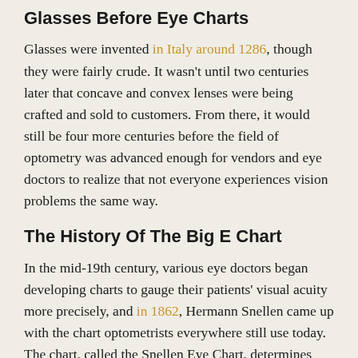Glasses Before Eye Charts
Glasses were invented in Italy around 1286, though they were fairly crude. It wasn't until two centuries later that concave and convex lenses were being crafted and sold to customers. From there, it would still be four more centuries before the field of optometry was advanced enough for vendors and eye doctors to realize that not everyone experiences vision problems the same way.
The History Of The Big E Chart
In the mid-19th century, various eye doctors began developing charts to gauge their patients' visual acuity more precisely, and in 1862, Hermann Snellen came up with the chart optometrists everywhere still use today. The chart, called the Snellen Eye Chart, determines how well a patient can see objects twenty feet away compared to the average human eye.